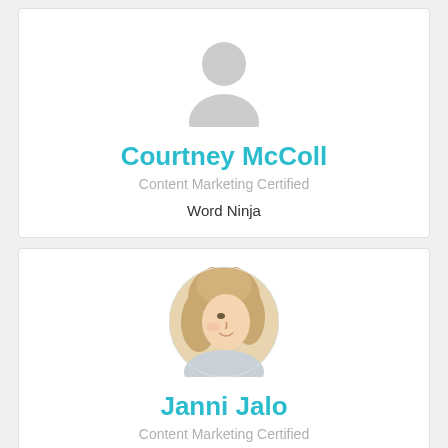[Figure (illustration): Grey placeholder avatar icon for Courtney McColl]
Courtney McColl
Content Marketing Certified
Word Ninja
[Figure (photo): Profile photo of Janni Jalo, a woman with curly blonde hair looking to the side, in a circular crop]
Janni Jalo
Content Marketing Certified
I write content that brings your message to...